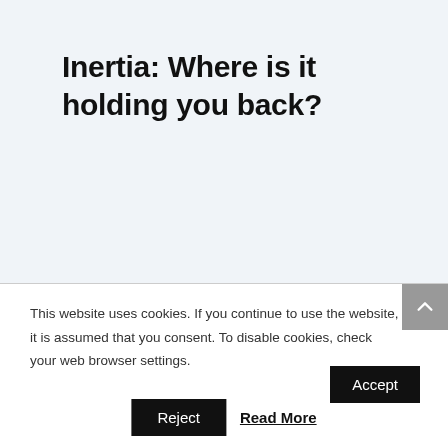Inertia: Where is it holding you back?
This website uses cookies. If you continue to use the website, it is assumed that you consent. To disable cookies, check your web browser settings.
Accept
Reject
Read More